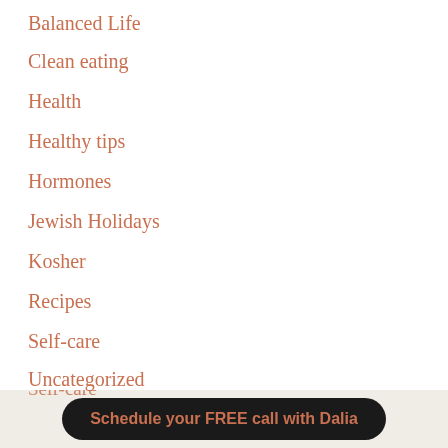Balanced Life
Clean eating
Health
Healthy tips
Hormones
Jewish Holidays
Kosher
Recipes
Self-care
Uncategorized
Schedule your FREE call with Dalia